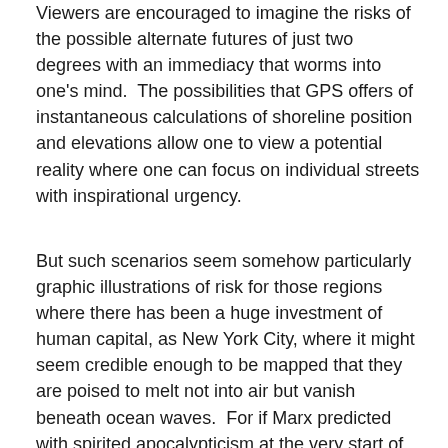Viewers are encouraged to imagine the risks of the possible alternate futures of just two degrees with an immediacy that worms into one's mind.  The possibilities that GPS offers of instantaneous calculations of shoreline position and elevations allow one to view a potential reality where one can focus on individual streets with inspirational urgency.
But such scenarios seem somehow particularly graphic illustrations of risk for those regions where there has been a huge investment of human capital, as New York City, where it might seem credible enough to be mapped that they are poised to melt not into air but vanish beneath ocean waves.  For if Marx predicted with spirited apocalypticism at the very start of the Communist Manifesto that capitalism would destroy value to money as it expanded into future markets, as market